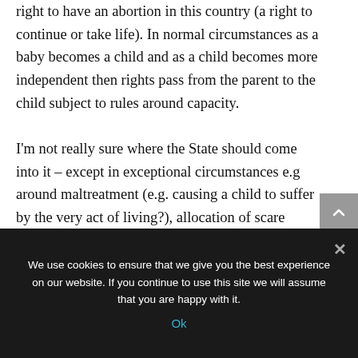right to have an abortion in this country (a right to continue or take life). In normal circumstances as a baby becomes a child and as a child becomes more independent then rights pass from the parent to the child subject to rules around capacity. I'm not really sure where the State should come into it – except in exceptional circumstances e.g around maltreatment (e.g. causing a child to suffer by the very act of living?), allocation of scare resources (always at the centre of decision-making in my experience… my child entered Care, so I have
We use cookies to ensure that we give you the best experience on our website. If you continue to use this site we will assume that you are happy with it.
Ok